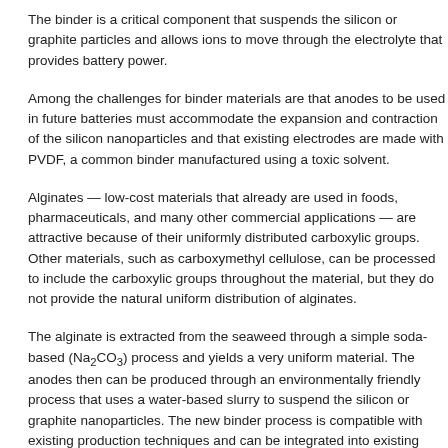The binder is a critical component that suspends the silicon or graphite particles and allows ions to move through the electrolyte that provides battery power.
Among the challenges for binder materials are that anodes to be used in future batteries must accommodate the expansion and contraction of the silicon nanoparticles and that existing electrodes are made with PVDF, a common binder manufactured using a toxic solvent.
Alginates — low-cost materials that already are used in foods, pharmaceuticals, and many other commercial applications — are attractive because of their uniformly distributed carboxylic groups. Other materials, such as carboxymethyl cellulose, can be processed to include the carboxylic groups throughout the material, but they do not provide the natural uniform distribution of alginates.
The alginate is extracted from the seaweed through a simple soda-based (Na2CO3) process and yields a very uniform material. The anodes then can be produced through an environmentally friendly process that uses a water-based slurry to suspend the silicon or graphite nanoparticles. The new binder process is compatible with existing production techniques and can be integrated into existing battery manufacturing lines.
Use of the alginate may help address one of the most difficult problems limiting the performance of silicon anodes. When batteries begin operating, decomposition of the lithium-ion electrolyte forms a solid-electrolyte interface on the surface of the anode. The interface must be stable and allow